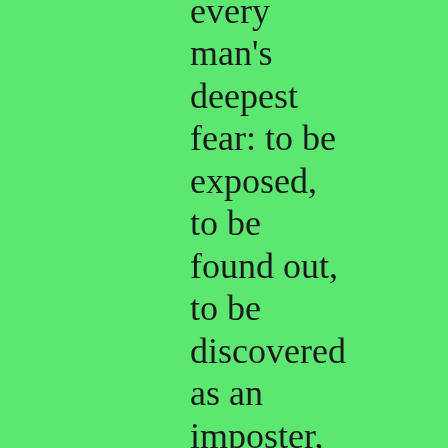every man's deepest fear: to be exposed, to be found out, to be discovered as an imposter, and not really a man.…A man bears the image of God in his strength, not so much physically